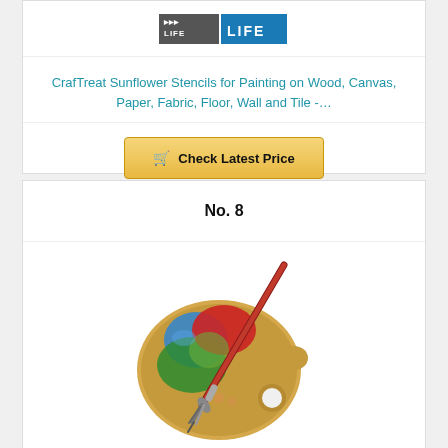[Figure (logo): Website logo with chevron/arrow mark and LIFE text on blue background]
CrafTreat Sunflower Stencils for Painting on Wood, Canvas, Paper, Fabric, Floor, Wall and Tile -…
🛒 Check Latest Price
No. 8
[Figure (illustration): Artist paint palette with red, blue, green paint colors and a paintbrush with red handle lying across it]